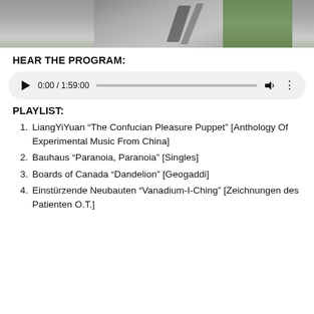[Figure (photo): Aerial or top-down photo showing a road/path with shadows and green field, partially cropped at top]
HEAR THE PROGRAM:
[Figure (screenshot): Audio player UI showing play button, time 0:00 / 1:59:00, progress bar, volume icon, and more options icon]
PLAYLIST:
LiangYiYuan “The Confucian Pleasure Puppet” [Anthology Of Experimental Music From China]
Bauhaus “Paranoia, Paranoia” [Singles]
Boards of Canada “Dandelion” [Geogaddi]
Einstürzende Neubauten “Vanadium-I-Ching” [Zeichnungen des Patienten O.T.]